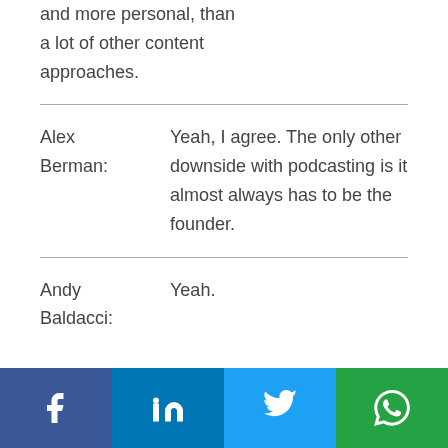and more personal, than a lot of other content approaches.
Alex Berman: Yeah, I agree. The only other downside with podcasting is it almost always has to be the founder.
Andy Baldacci: Yeah.